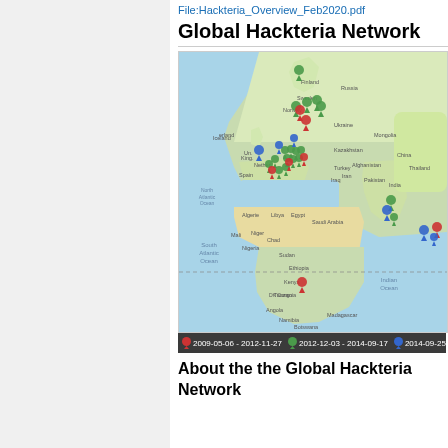File:Hackteria_Overview_Feb2020.pdf
Global Hackteria Network
[Figure (map): World map showing Global Hackteria Network locations with colored pin markers (red, green, blue) concentrated in Europe with additional pins in Asia, Africa, and Indian Ocean region. Legend shows date ranges: 2009-05-06 - 2012-11-27, 2012-12-03 - 2014-09-17, 2014-09-25 - ...]
About the the Global Hackteria Network